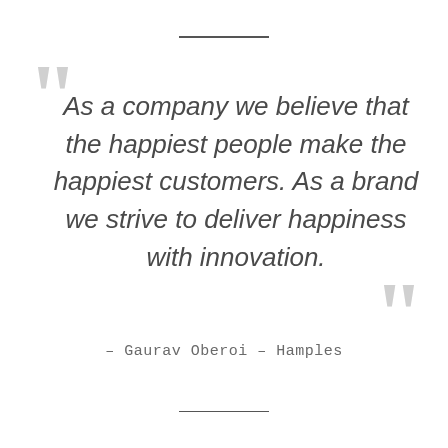As a company we believe that the happiest people make the happiest customers. As a brand we strive to deliver happiness with innovation.
– Gaurav Oberoi – Hamples